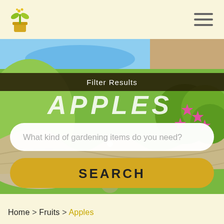[Figure (screenshot): Garden Savvy website logo with a green cactus/plant icon and text GARDEN SAVVY]
[Figure (illustration): Colorful cartoon garden scene with green grass, winding tan paths, bushes with pink star flowers, and a blue water feature in the background]
Filter Results
APPLES
What kind of gardening items do you need?
SEARCH
Home > Fruits > Apples